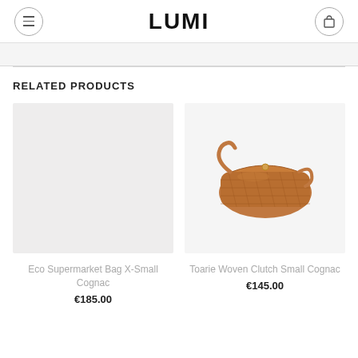LUMI
RELATED PRODUCTS
[Figure (photo): Product image placeholder for Eco Supermarket Bag X-Small Cognac — light gray empty box]
Eco Supermarket Bag X-Small Cognac
€185.00
[Figure (photo): Photo of a cognac-colored woven leather clutch bag with shoulder strap]
Toarie Woven Clutch Small Cognac
€145.00